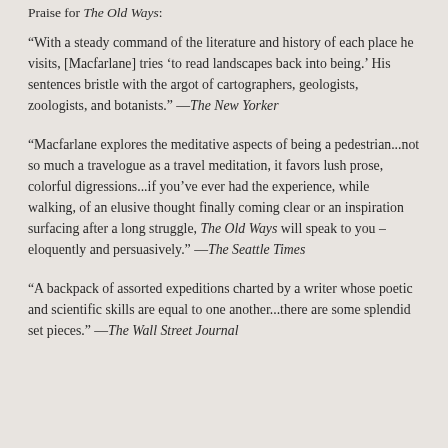Praise for The Old Ways:
“With a steady command of the literature and history of each place he visits, [Macfarlane] tries ‘to read landscapes back into being.’ His sentences bristle with the argot of cartographers, geologists, zoologists, and botanists.” —The New Yorker
“Macfarlane explores the meditative aspects of being a pedestrian...not so much a travelogue as a travel meditation, it favors lush prose, colorful digressions...if you’ve ever had the experience, while walking, of an elusive thought finally coming clear or an inspiration surfacing after a long struggle, The Old Ways will speak to you – eloquently and persuasively.” —The Seattle Times
“A backpack of assorted expeditions charted by a writer whose poetic and scientific skills are equal to one another...there are some splendid set pieces.” —The Wall Street Journal